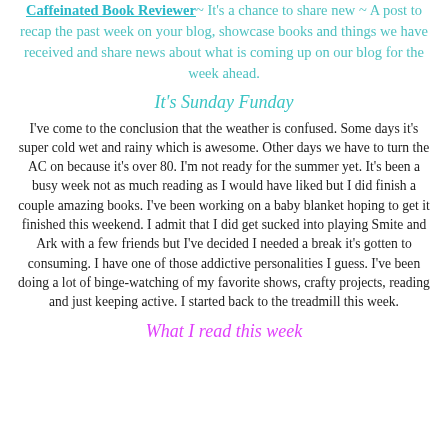Caffeinated Book Reviewer~ It's a chance to share new ~ A post to recap the past week on your blog, showcase books and things we have received and share news about what is coming up on our blog for the week ahead.
It's Sunday Funday
I've come to the conclusion that the weather is confused. Some days it's super cold wet and rainy which is awesome. Other days we have to turn the AC on because it's over 80. I'm not ready for the summer yet. It's been a busy week not as much reading as I would have liked but I did finish a couple amazing books. I've been working on a baby blanket hoping to get it finished this weekend. I admit that I did get sucked into playing Smite and Ark with a few friends but I've decided I needed a break it's gotten to consuming. I have one of those addictive personalities I guess. I've been doing a lot of binge-watching of my favorite shows, crafty projects, reading and just keeping active. I started back to the treadmill this week.
What I read this week